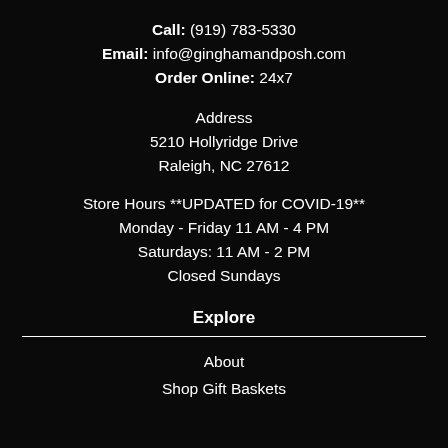Call: (919) 783-5330
Email: info@ginghamandposh.com
Order Online: 24x7
Address
5210 Hollyridge Drive
Raleigh, NC 27612
Store Hours **UPDATED for COVID-19**
Monday - Friday 11 AM - 4 PM
Saturdays: 11 AM - 2 PM
Closed Sundays
Explore
About
Shop Gift Baskets